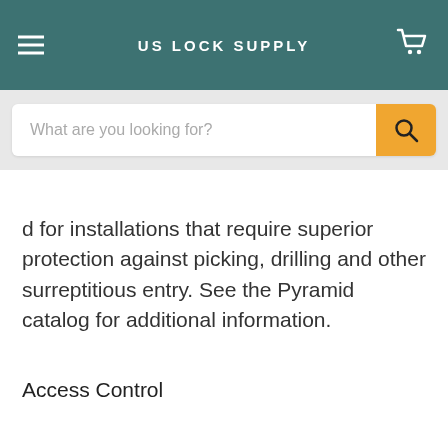US LOCK SUPPLY
d for installations that require superior protection against picking, drilling and other surreptitious entry. See the Pyramid catalog for additional information.
Access Control